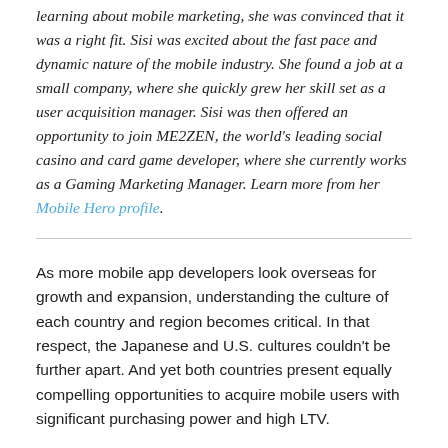learning about mobile marketing, she was convinced that it was a right fit. Sisi was excited about the fast pace and dynamic nature of the mobile industry. She found a job at a small company, where she quickly grew her skill set as a user acquisition manager. Sisi was then offered an opportunity to join ME2ZEN, the world's leading social casino and card game developer, where she currently works as a Gaming Marketing Manager. Learn more from her Mobile Hero profile.
As more mobile app developers look overseas for growth and expansion, understanding the culture of each country and region becomes critical. In that respect, the Japanese and U.S. cultures couldn't be further apart. And yet both countries present equally compelling opportunities to acquire mobile users with significant purchasing power and high LTV.